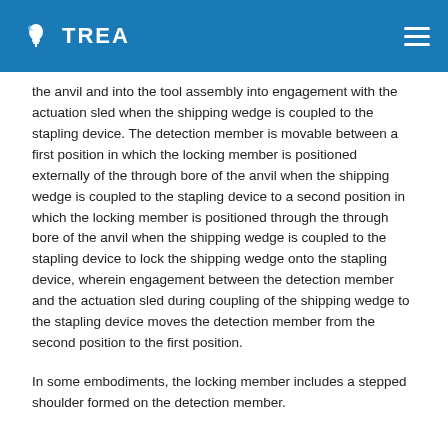TREA
the anvil and into the tool assembly into engagement with the actuation sled when the shipping wedge is coupled to the stapling device. The detection member is movable between a first position in which the locking member is positioned externally of the through bore of the anvil when the shipping wedge is coupled to the stapling device to a second position in which the locking member is positioned through the through bore of the anvil when the shipping wedge is coupled to the stapling device to lock the shipping wedge onto the stapling device, wherein engagement between the detection member and the actuation sled during coupling of the shipping wedge to the stapling device moves the detection member from the second position to the first position.
In some embodiments, the locking member includes a stepped shoulder formed on the detection member.